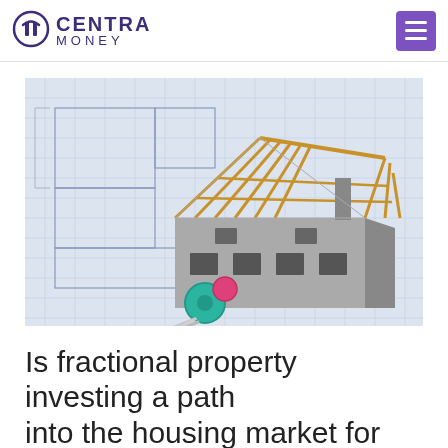CENTRA MONEY
[Figure (photo): A miniature house model under construction with a wooden roof frame, sitting on architectural blueprints alongside a set of keys with a green and pink keyring.]
Is fractional property investing a path into the housing market for...